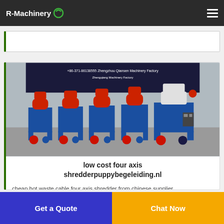R-Machinery
[Figure (photo): Photo of multiple blue and red four-axis cable shredder machines lined up in a factory setting, with a banner in the background.]
low cost four axis shredderpuppybegeleiding.nl
cheap hot waste cable four axis shredder from chinese supplier
China Fridge Shredder Fridge Shredder China Fridge Shredder